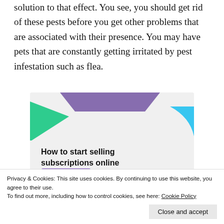solution to that effect. You see, you should get rid of these pests before you get other problems that are associated with their presence. You may have pets that are constantly getting irritated by pest infestation such as flea.
[Figure (illustration): Advertisement image with geometric shapes (green triangle, purple arc top-left, blue arc top-right) on light grey background. Bold text reads 'How to start selling subscriptions online' with a purple button below.]
Privacy & Cookies: This site uses cookies. By continuing to use this website, you agree to their use.
To find out more, including how to control cookies, see here: Cookie Policy
Close and accept